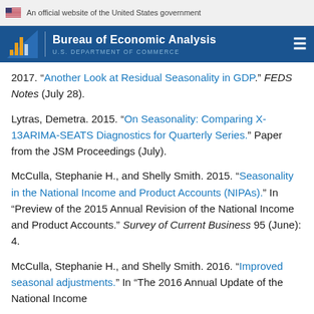An official website of the United States government
[Figure (logo): Bureau of Economic Analysis logo with BEA text and U.S. Department of Commerce subtitle on dark blue background]
2017. “Another Look at Residual Seasonality in GDP.” FEDS Notes (July 28).
Lytras, Demetra. 2015. “On Seasonality: Comparing X-13ARIMA-SEATS Diagnostics for Quarterly Series.” Paper from the JSM Proceedings (July).
McCulla, Stephanie H., and Shelly Smith. 2015. “Seasonality in the National Income and Product Accounts (NIPAs).” In “Preview of the 2015 Annual Revision of the National Income and Product Accounts.” Survey of Current Business 95 (June): 4.
McCulla, Stephanie H., and Shelly Smith. 2016. “Improved seasonal adjustments.” In “The 2016 Annual Update of the National Income